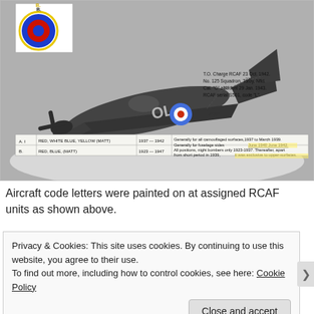[Figure (photo): Black and white photograph of an RCAF aircraft (likely a Hurricane) on snowy ground with code letters 'OL' visible on fuselage and RCAF roundel. Inset diagram in top-left showing roundel colors labeled 'B.' with measurement annotations overlaid on the aircraft. Table below the photo lists roundel color schemes: A.I RED,WHITE BLUE,YELLOW(MATT) 1937-1942 and B. RED,BLUE,(MATT) 1923-1947 with notes about camouflaged surfaces. Annotations include: T.O. Charge RCAF 23 Oct. 1942. No. 125 Squadron, Torby, Nfld. Cat. 'C' accident 29 Jan. 1943. RCAF serial S501, code 'L'.]
Aircraft code letters were painted on at assigned RCAF units as shown above.
Privacy & Cookies: This site uses cookies. By continuing to use this website, you agree to their use.
To find out more, including how to control cookies, see here: Cookie Policy